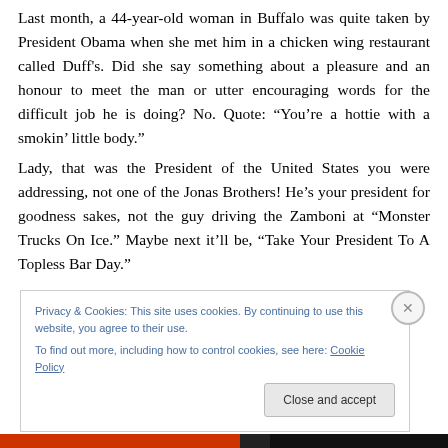Last month, a 44-year-old woman in Buffalo was quite taken by President Obama when she met him in a chicken wing restaurant called Duff's. Did she say something about a pleasure and an honour to meet the man or utter encouraging words for the difficult job he is doing? No. Quote: “You’re a hottie with a smokin’ little body.”
Lady, that was the President of the United States you were addressing, not one of the Jonas Brothers! He’s your president for goodness sakes, not the guy driving the Zamboni at “Monster Trucks On Ice.” Maybe next it’ll be, “Take Your President To A Topless Bar Day.”
Privacy & Cookies: This site uses cookies. By continuing to use this website, you agree to their use.
To find out more, including how to control cookies, see here: Cookie Policy